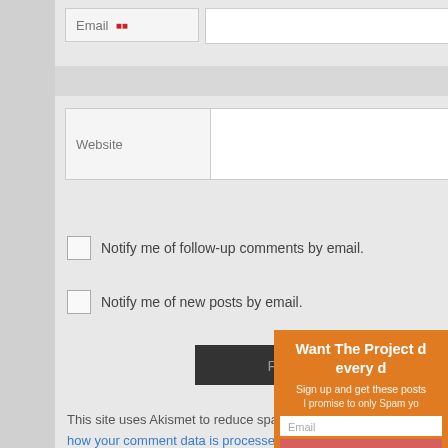[Figure (screenshot): Website comment form showing Email field with red asterisk at top, Website field below it, two checkboxes for email notifications, a Post Comment button, and Akismet spam notice with blue links. An orange popup overlay partially covers the right side showing a newsletter signup widget with title 'Want The Project every d', subscription text, email input, and a red SUBSCR button.]
Email *
Website
Notify me of follow-up comments by email.
Notify me of new posts by email.
Post Comment
This site uses Akismet to reduce spam. Learn how your comment data is processed.
Want The Project every d
Sign up and get these posts
I promise to only Spam yo
Email
SUBSCR
Proudly powered by WordPress